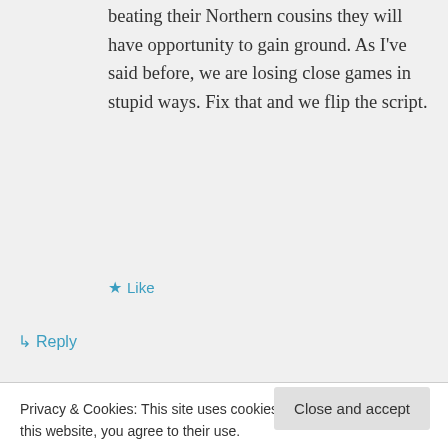beating their Northern cousins they will have opportunity to gain ground. As I've said before, we are losing close games in stupid ways. Fix that and we flip the script.
★ Like
↳ Reply
sargeh on June 1, 2016 at 9:22 am
They have 13 games remaining
Privacy & Cookies: This site uses cookies. By continuing to use this website, you agree to their use.
To find out more, including how to control cookies, see here: Cookie Policy
Close and accept